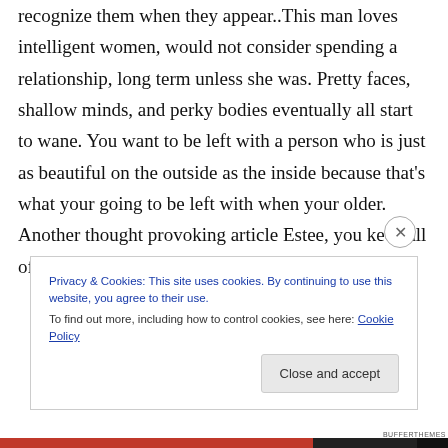recognize them when they appear..This man loves intelligent women, would not consider spending a relationship, long term unless she was. Pretty faces, shallow minds, and perky bodies eventually all start to wane. You want to be left with a person who is just as beautiful on the outside as the inside because that's what your going to be left with when your older. Another thought provoking article Estee, you keep all of us on our toes. Thank you. Dev.
Privacy & Cookies: This site uses cookies. By continuing to use this website, you agree to their use.
To find out more, including how to control cookies, see here: Cookie Policy